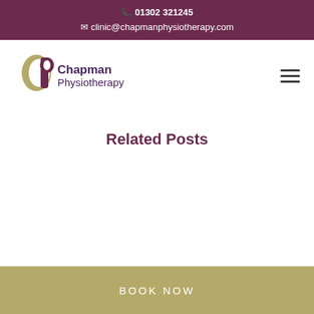📞 01302 321245  ✉ clinic@chapmanphysiotherapy.com
[Figure (logo): Chapman Physiotherapy logo with stylized 'CP' monogram in olive/gold and purple, with text 'Chapman Physiotherapy' in purple]
Related Posts
BOOK NOW